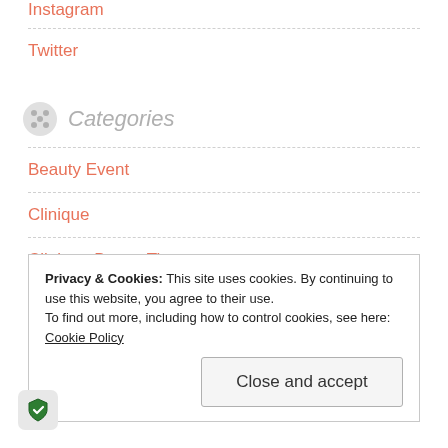Instagram
Twitter
Categories
Beauty Event
Clinique
Clinique Bonus Time
Elizabeth Arden
Privacy & Cookies: This site uses cookies. By continuing to use this website, you agree to their use.
To find out more, including how to control cookies, see here: Cookie Policy